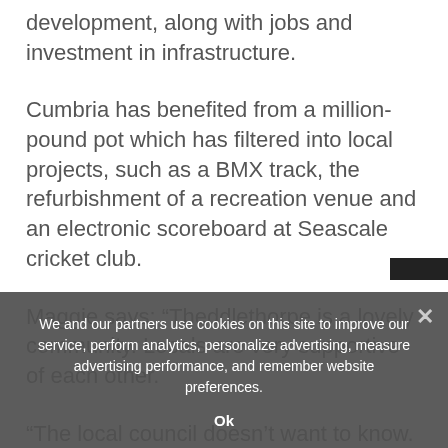development, along with jobs and investment in infrastructure.
Cumbria has benefited from a million-pound pot which has filtered into local projects, such as a BMX track, the refurbishment of a recreation venue and an electronic scoreboard at Seascale cricket club.
Maggie says: “Theddlethorpe is a lovely community. Locals are very supportive of each other.
“The local council doesn’t want to know. To be honest, they’re going along with the bribe of the money they’re going to get every year.”
We and our partners use cookies on this site to improve our service, perform analytics, personalize advertising, measure advertising performance, and remember website preferences.